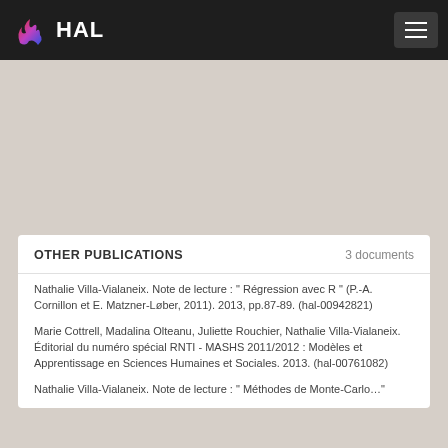HAL
OTHER PUBLICATIONS   3 documents
Nathalie Villa-Vialaneix. Note de lecture : " Régression avec R " (P.-A. Cornillon et E. Matzner-Løber, 2011). 2013, pp.87-89. (hal-00942821)
Marie Cottrell, Madalina Olteanu, Juliette Rouchier, Nathalie Villa-Vialaneix. Éditorial du numéro spécial RNTI - MASHS 2011/2012 : Modèles et Apprentissage en Sciences Humaines et Sociales. 2013. (hal-00761082)
Nathalie Villa-Vialaneix. Note de lecture : " Méthodes de Monte-Carlo..."